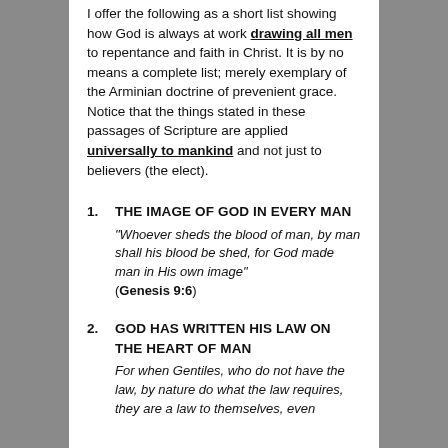I offer the following as a short list showing how God is always at work drawing all men to repentance and faith in Christ. It is by no means a complete list; merely exemplary of the Arminian doctrine of prevenient grace. Notice that the things stated in these passages of Scripture are applied universally to mankind and not just to believers (the elect).
THE IMAGE OF GOD IN EVERY MAN — "Whoever sheds the blood of man, by man shall his blood be shed, for God made man in His own image" (Genesis 9:6)
GOD HAS WRITTEN HIS LAW ON THE HEART OF MAN — For when Gentiles, who do not have the law, by nature do what the law requires, they are a law to themselves, even...